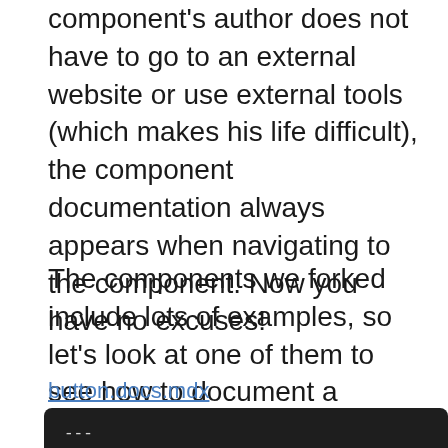component's author does not have to go to an external website or use external tools (which makes his life difficult), the component documentation always appears when navigating to the component. Now you have no excuses!
The components we forked include lots of examples, so let's look at one of them to see how to document a component properly:
button.docs.mdx
---
description: A standard, accessible and customiza